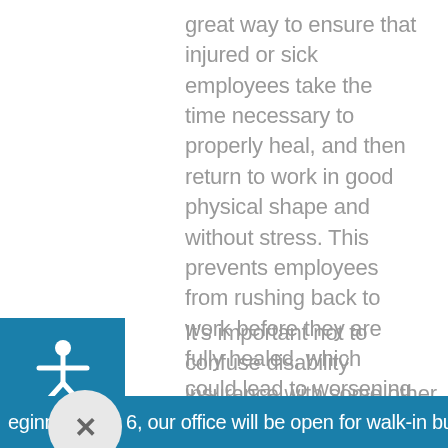great way to ensure that injured or sick employees take the time necessary to properly heal, and then return to work in good physical shape and without stress. This prevents employees from rushing back to work before they are fully healed, which could lead to worsening of their condition and even longer recovery times in the future.
[Figure (illustration): White accessibility/person icon on a blue square background]
It's important not to confuse disability insurance with some other programs. It is different than workers' compensation insurance (a mandatory insurance program paid for by
eginning July 6, our office will be open for walk-in busine